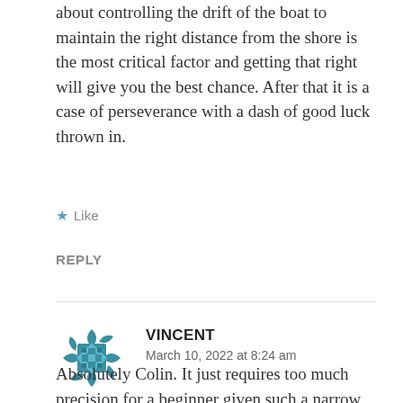about controlling the drift of the boat to maintain the right distance from the shore is the most critical factor and getting that right will give you the best chance. After that it is a case of perseverance with a dash of good luck thrown in.
★ Like
REPLY
[Figure (logo): Teal/blue decorative geometric avatar icon for user Vincent]
VINCENT
March 10, 2022 at 8:24 am
Absolutely Colin. It just requires too much precision for a beginner given such a narrow taking zone, and the waves (though very necessary) just compound